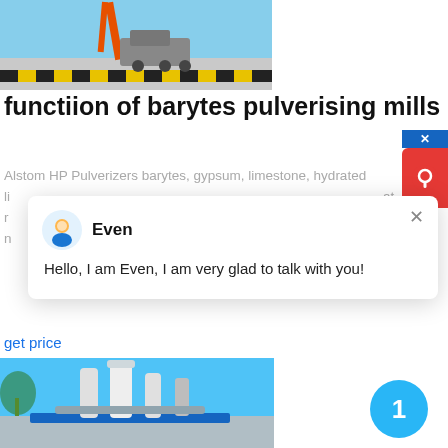[Figure (photo): Industrial crane and heavy machinery on a tarmac near water, with yellow-black barrier markings.]
functiion of barytes pulverising mills
Alstom HP Pulverizers barytes, gypsum, limestone, hydrated li... at ... w ... n
[Figure (screenshot): Chat popup overlay with agent named 'Even' saying: Hello, I am Even, I am very glad to talk with you!]
get price
[Figure (photo): Industrial pulverising mill equipment outdoors with pipes and blue sky background.]